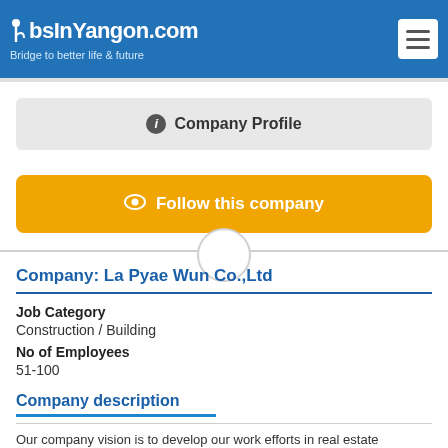JobsInYangon.com – Bridge to better life & future
Company Profile
Follow this company
Company: La Pyae Wun Co.,Ltd
Job Category
Construction / Building
No of Employees
51-100
Company description
Our company vision is to develop our work efforts in real estate managements and construction. In which we solely believe that